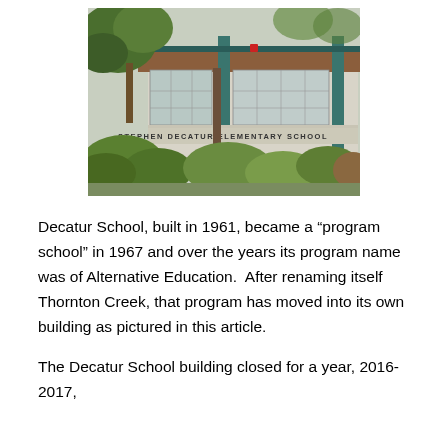[Figure (photo): Exterior photograph of Stephen Decatur Elementary School building, showing the front facade with large windows, green structural beams, trees and shrubs in the foreground, and the school name 'STEPHEN DECATUR ELEMENTARY SCHOOL' visible on the building wall.]
Decatur School, built in 1961, became a “program school” in 1967 and over the years its program name was of Alternative Education.  After renaming itself Thornton Creek, that program has moved into its own building as pictured in this article.
The Decatur School building closed for a year, 2016-2017,